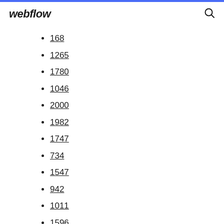webflow
168
1265
1780
1046
2000
1982
1747
734
1547
942
1011
1596